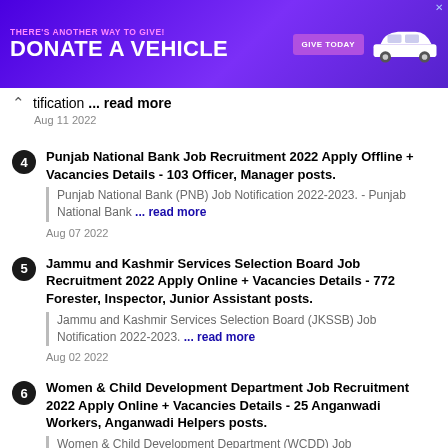[Figure (other): Advertisement banner: purple background with text 'THERE'S ANOTHER WAY TO GIVE! DONATE A VEHICLE' with a 'GIVE TODAY' button and a white car graphic]
tification ... read more
Aug 11 2022
Punjab National Bank Job Recruitment 2022 Apply Offline + Vacancies Details - 103 Officer, Manager posts.
Punjab National Bank (PNB) Job Notification 2022-2023. - Punjab National Bank ... read more
Aug 07 2022
Jammu and Kashmir Services Selection Board Job Recruitment 2022 Apply Online + Vacancies Details - 772 Forester, Inspector, Junior Assistant posts.
Jammu and Kashmir Services Selection Board (JKSSB) Job Notification 2022-2023. ... read more
Aug 02 2022
Women & Child Development Department Job Recruitment 2022 Apply Online + Vacancies Details - 25 Anganwadi Workers, Anganwadi Helpers posts.
Women & Child Development Department (WCDD) Job